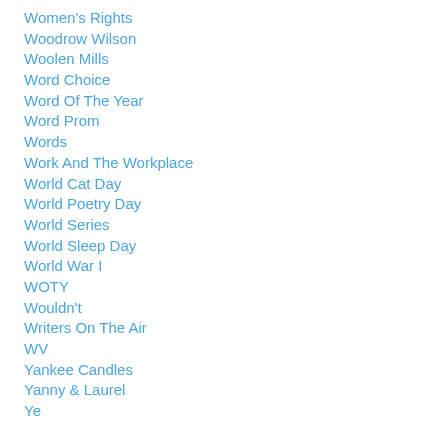Women's Rights
Woodrow Wilson
Woolen Mills
Word Choice
Word Of The Year
Word Prom
Words
Work And The Workplace
World Cat Day
World Poetry Day
World Series
World Sleep Day
World War I
WOTY
Wouldn't
Writers On The Air
WV
Yankee Candles
Yanny & Laurel
Ye